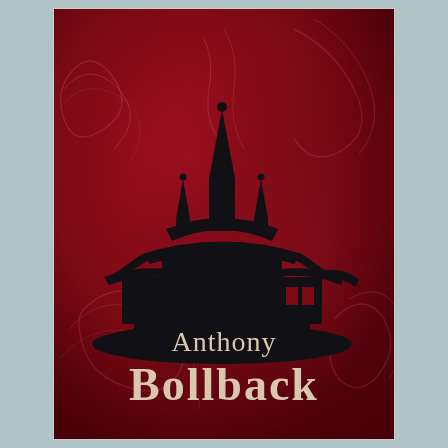[Figure (illustration): Book cover with dark red/crimson background featuring decorative smoke/floral swirl patterns, a black silhouette of a Southeast Asian temple/pagoda building in the upper-center, and author name text at the bottom.]
Anthony Bollback